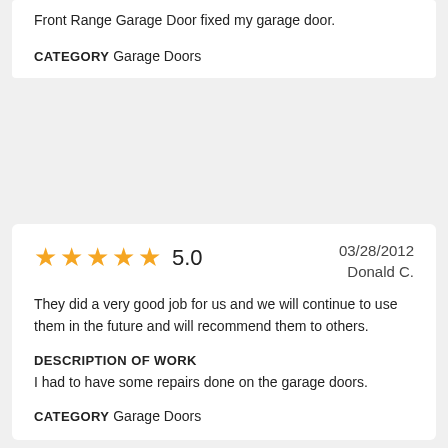Front Range Garage Door fixed my garage door.
CATEGORY Garage Doors
5.0  03/28/2012  Donald C.
They did a very good job for us and we will continue to use them in the future and will recommend them to others.
DESCRIPTION OF WORK
I had to have some repairs done on the garage doors.
CATEGORY Garage Doors